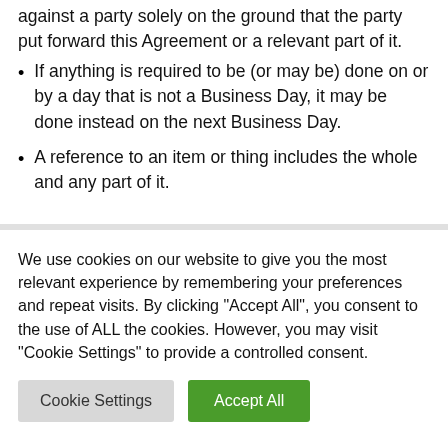against a party solely on the ground that the party put forward this Agreement or a relevant part of it.
If anything is required to be (or may be) done on or by a day that is not a Business Day, it may be done instead on the next Business Day.
A reference to an item or thing includes the whole and any part of it.
We use cookies on our website to give you the most relevant experience by remembering your preferences and repeat visits. By clicking "Accept All", you consent to the use of ALL the cookies. However, you may visit "Cookie Settings" to provide a controlled consent.